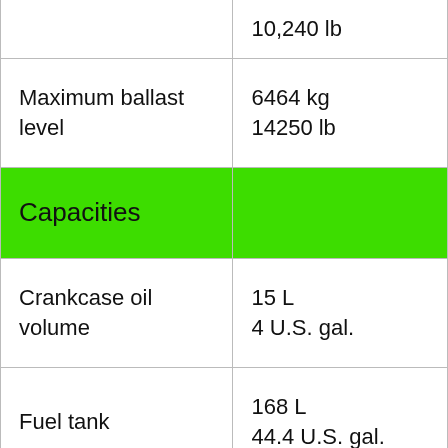|  |  |
| --- | --- |
|  | 10,240 lb |
| Maximum ballast level | 6464 kg
14250 lb |
| Capacities |  |
| Crankcase oil volume | 15 L
4 U.S. gal. |
| Fuel tank | 168 L
44.4 U.S. gal. |
| Cooling system | Open station:
18.6 L
4.7 U.S. gal.
Cab: 19.1 L
5 U.S. gal. |